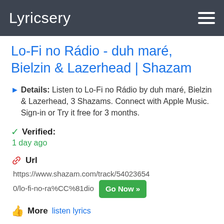Lyricsery
Lo-Fi no Rádio - duh maré, Bielzin & Lazerhead | Shazam
Details: Listen to Lo-Fi no Rádio by duh maré, Bielzin & Lazerhead, 3 Shazams. Connect with Apple Music. Sign-in or Try it free for 3 months.
Verified: 1 day ago
Url https://www.shazam.com/track/540236540/lo-fi-no-ra%CC%81dio Go Now »
More listen lyrics